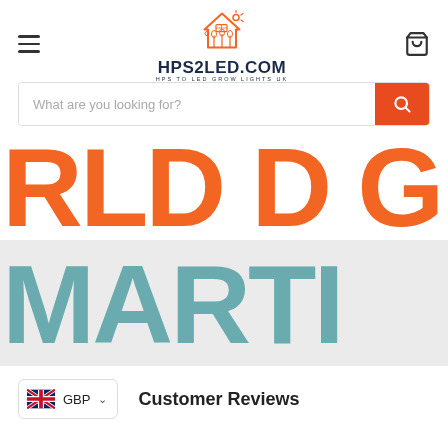[Figure (logo): HPS2LED.COM logo with orange house/solar/plant icon and dark blue text 'HPS2LED.COM' and 'HPS TO LED GROW LIGHTS UK']
[Figure (screenshot): Search bar with placeholder 'What are you looking for?' and orange search button]
[Figure (photo): Banner image showing large bold text 'RLD GR' in orange and 'MARTI' in teal/muted blue-green]
GBP
Customer Reviews